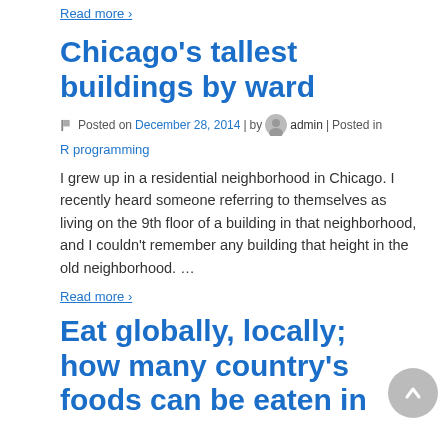Read more ›
Chicago's tallest buildings by ward
Posted on December 28, 2014 | by admin | Posted in
R programming
I grew up in a residential neighborhood in Chicago. I recently heard someone referring to themselves as living on the 9th floor of a building in that neighborhood, and I couldn't remember any building that height in the old neighborhood.  …
Read more ›
Eat globally, locally; how many country's foods can be eaten in